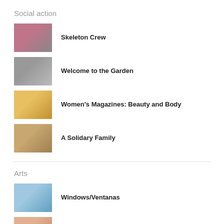Social action
Skeleton Crew
Welcome to the Garden
Women's Magazines: Beauty and Body
A Solidary Family
Arts
Windows/Ventanas
Rafa Iglesias
Animation and the Subjective View